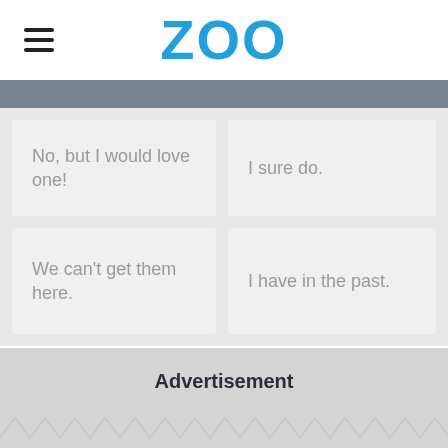ZOO
No, but I would love one!
I sure do.
We can't get them here.
I have in the past.
Advertisement